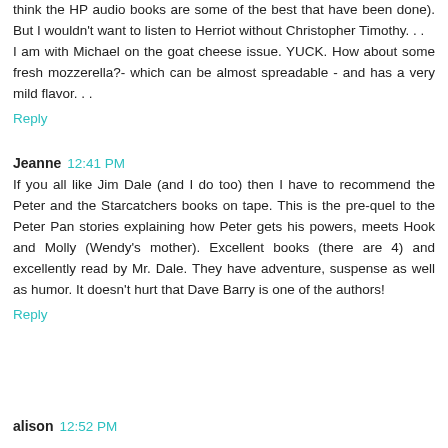think the HP audio books are some of the best that have been done). But I wouldn't want to listen to Herriot without Christopher Timothy. . .
I am with Michael on the goat cheese issue. YUCK. How about some fresh mozzerella?- which can be almost spreadable - and has a very mild flavor. . .
Reply
Jeanne 12:41 PM
If you all like Jim Dale (and I do too) then I have to recommend the Peter and the Starcatchers books on tape. This is the pre-quel to the Peter Pan stories explaining how Peter gets his powers, meets Hook and Molly (Wendy's mother). Excellent books (there are 4) and excellently read by Mr. Dale. They have adventure, suspense as well as humor. It doesn't hurt that Dave Barry is one of the authors!
Reply
alison 12:52 PM